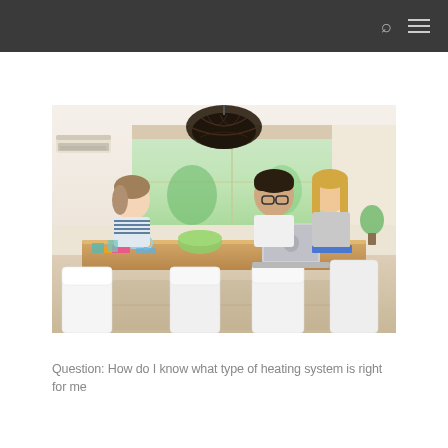[Figure (photo): A family scene in a bright modern dining room. A young girl sits on the left side of a wooden table, focused on something in her hands. A man with glasses and a woman with long blonde hair sit on the right side, with an open laptop in front of them. Items on the table include a green bowl, mugs, and colorful objects. White modern chairs surround the table. A decorative dark wicker pendant light hangs from the ceiling. A split-system air conditioner is mounted on the upper left wall. Large windows in the background show a garden view.]
Question: How do I know what type of heating system is right for me